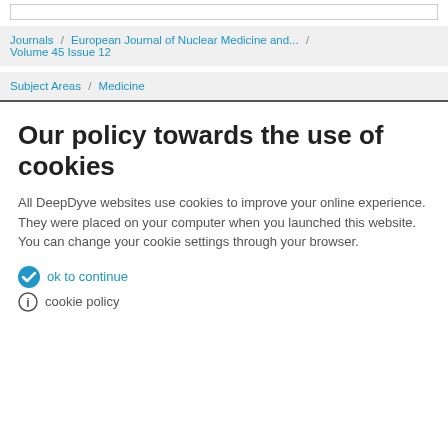Journals / European Journal of Nuclear Medicine and... / Volume 45 Issue 12
Subject Areas / Medicine
Our policy towards the use of cookies
All DeepDyve websites use cookies to improve your online experience. They were placed on your computer when you launched this website. You can change your cookie settings through your browser.
ok to continue
cookie policy